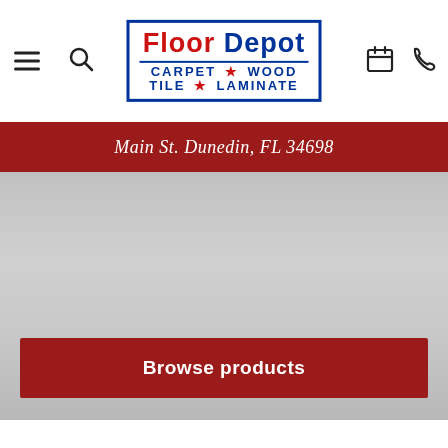[Figure (logo): Floor Depot logo with blue border, red 'Floor Depot' text and blue 'CARPET * WOOD TILE * LAMINATE' text]
Main St. Dunedin, FL 34698
[Figure (photo): Gray hero image background area]
Browse products